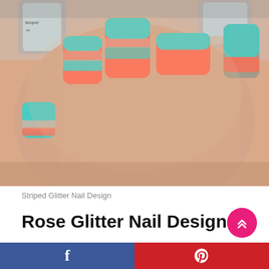[Figure (photo): Close-up photo of a hand with striped glitter nail design — nails feature horizontal stripes of teal/turquoise glitter and coral/orange nail polish with nude gaps, alongside a nail polish bottle in the background.]
Striped Glitter Nail Design
Rose Glitter Nail Design
Facebook share button | Pinterest share button